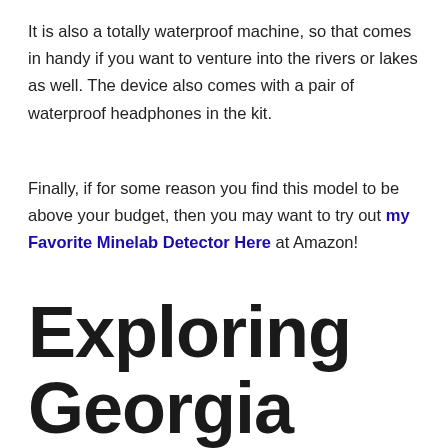It is also a totally waterproof machine, so that comes in handy if you want to venture into the rivers or lakes as well. The device also comes with a pair of waterproof headphones in the kit.
Finally, if for some reason you find this model to be above your budget, then you may want to try out my Favorite Minelab Detector Here at Amazon!
Exploring Georgia state parks